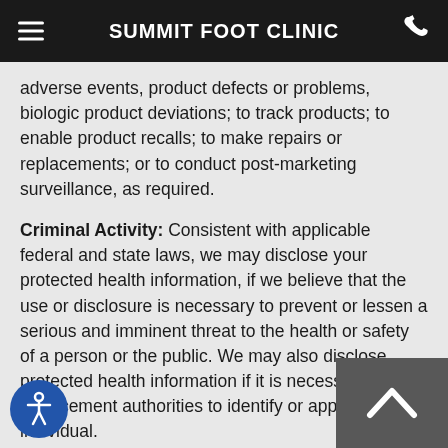SUMMIT FOOT CLINIC
adverse events, product defects or problems, biologic product deviations; to track products; to enable product recalls; to make repairs or replacements; or to conduct post-marketing surveillance, as required.
Criminal Activity: Consistent with applicable federal and state laws, we may disclose your protected health information, if we believe that the use or disclosure is necessary to prevent or lessen a serious and imminent threat to the health or safety of a person or the public. We may also disclose protected health information if it is necessary for law enforcement authorities to identify or apprehend an individual.
Required by Law: We may use or disclose your protected information when we are required to do so by law. For example, we must disclose your protected health